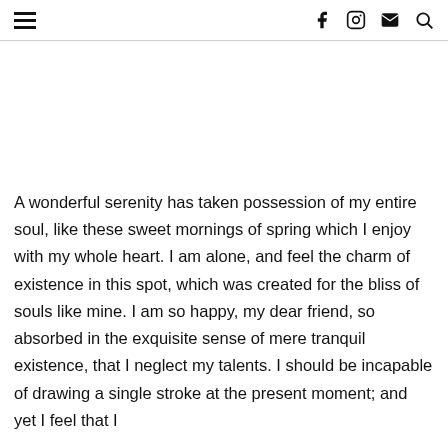≡  f  Instagram  Mail  Search
A wonderful serenity has taken possession of my entire soul, like these sweet mornings of spring which I enjoy with my whole heart. I am alone, and feel the charm of existence in this spot, which was created for the bliss of souls like mine. I am so happy, my dear friend, so absorbed in the exquisite sense of mere tranquil existence, that I neglect my talents. I should be incapable of drawing a single stroke at the present moment; and yet I feel that I